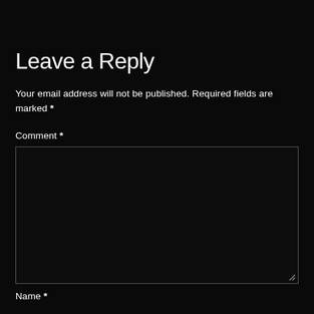Leave a Reply
Your email address will not be published. Required fields are marked *
Comment *
[Figure (other): Empty comment text area input box with a dark background and a thin light border, with a resize handle in the bottom-right corner]
Name *